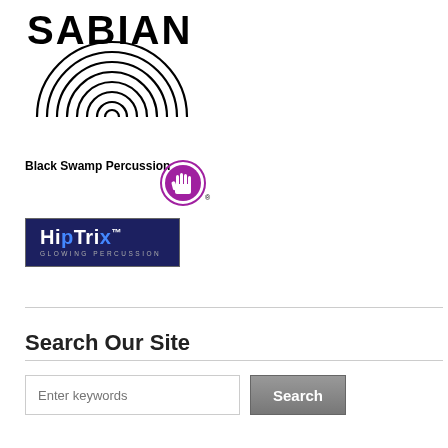[Figure (logo): SABIAN cymbal brand logo — bold black text 'SABIAN' above concentric half-circle rings resembling a cymbal cross-section]
[Figure (logo): Black Swamp Percussion logo — circular magenta/purple badge with a hand print, text 'Black Swamp Percussion' to the left]
[Figure (logo): HipTrix Glowing Percussion logo — white stylized text 'HipTrix' with TM mark on dark navy/black background, subtitle 'GLOWING PERCUSSION']
Search Our Site
Enter keywords [input field] Search [button]